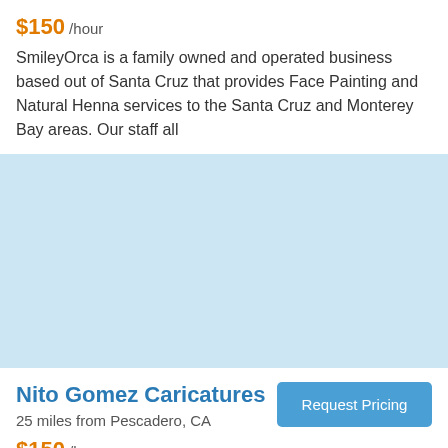$150 /hour
SmileyOrca is a family owned and operated business based out of Santa Cruz that provides Face Painting and Natural Henna services to the Santa Cruz and Monterey Bay areas. Our staff all
[Figure (map): Light blue map area placeholder]
Nito Gomez Caricatures
25 miles from Pescadero, CA
Request Pricing
$150 /hour